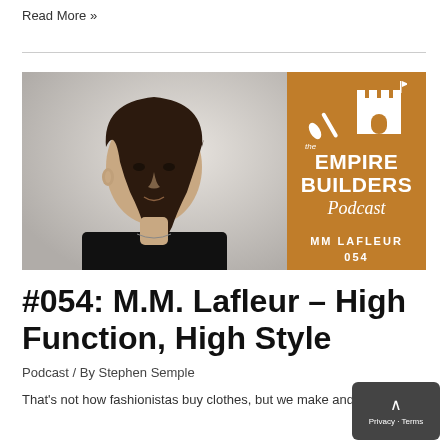Read More »
[Figure (photo): Podcast episode thumbnail: black and white photo of a woman on the left, and The Empire Builders Podcast branding with MM Lafleur 054 on an orange/brown background on the right]
#054: M.M. Lafleur – High Function, High Style
Podcast / By Stephen Semple
That's not how fashionistas buy clothes, but we make and sell